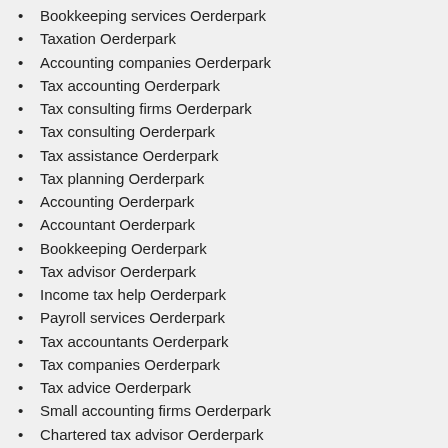Bookkeeping services Oerderpark
Taxation Oerderpark
Accounting companies Oerderpark
Tax accounting Oerderpark
Tax consulting firms Oerderpark
Tax consulting Oerderpark
Tax assistance Oerderpark
Tax planning Oerderpark
Accounting Oerderpark
Accountant Oerderpark
Bookkeeping Oerderpark
Tax advisor Oerderpark
Income tax help Oerderpark
Payroll services Oerderpark
Tax accountants Oerderpark
Tax companies Oerderpark
Tax advice Oerderpark
Small accounting firms Oerderpark
Chartered tax advisor Oerderpark
Tax solutions Oerderpark
Tax consultants in Oerderpark
Tax companies in Oerderpark
As a service provider, we take pride in all the services that we are offering
So calling us wouldnâ€™t be a bad idea